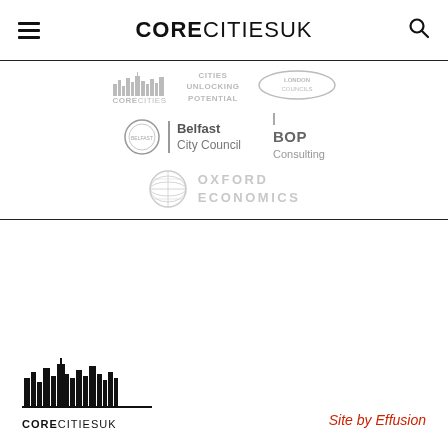CORE CITIES UK
[Figure (logo): Core Cities logo (small, greyscale) with skyline icon]
[Figure (logo): Cities Unlocking Potential logo (greyscale text)]
[Figure (logo): London Councils logo (greyscale oval with text)]
[Figure (logo): Belfast City Council logo with circular emblem and text]
[Figure (logo): BOP Consulting logo (greyscale)]
[Figure (logo): Oxford Economics logo with globe icon (light grey)]
[Figure (logo): Core Cities UK footer logo (black skyline, large)]
Site by Effusion